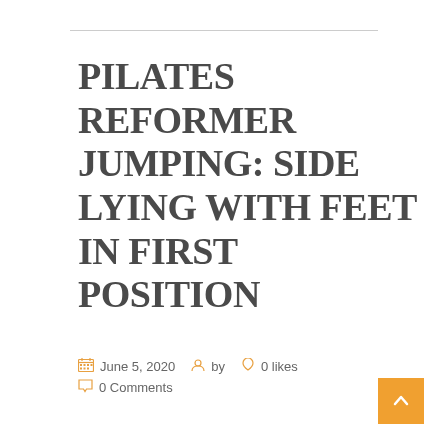PILATES REFORMER JUMPING: SIDE LYING WITH FEET IN FIRST POSITION
June 5, 2020   by   0 likes   0 Comments